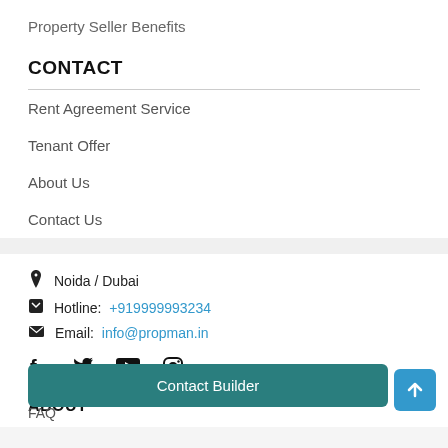Property Seller Benefits
CONTACT
Rent Agreement Service
Tenant Offer
About Us
Contact Us
Noida / Dubai
Hotline: +919999993234
Email: info@propman.in
ABOUT
Contact Builder
FAQ